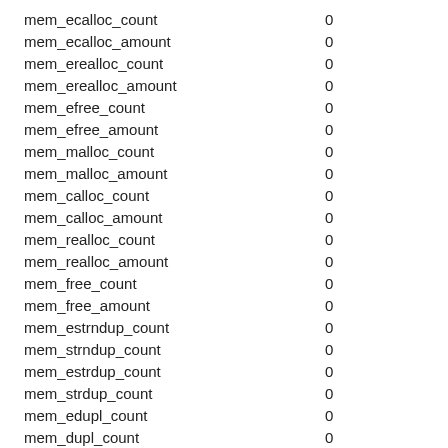| mem_ecalloc_count | 0 |
| mem_ecalloc_amount | 0 |
| mem_erealloc_count | 0 |
| mem_erealloc_amount | 0 |
| mem_efree_count | 0 |
| mem_efree_amount | 0 |
| mem_malloc_count | 0 |
| mem_malloc_amount | 0 |
| mem_calloc_count | 0 |
| mem_calloc_amount | 0 |
| mem_realloc_count | 0 |
| mem_realloc_amount | 0 |
| mem_free_count | 0 |
| mem_free_amount | 0 |
| mem_estrndup_count | 0 |
| mem_strndup_count | 0 |
| mem_estrdup_count | 0 |
| mem_strdup_count | 0 |
| mem_edupl_count | 0 |
| mem_dupl_count | 0 |